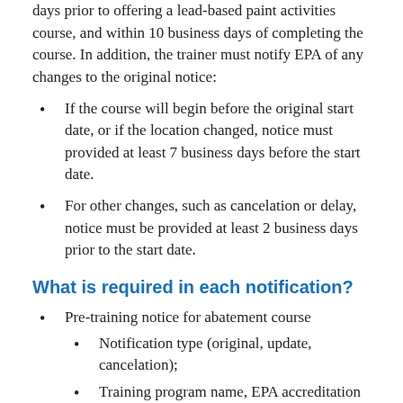days prior to offering a lead-based paint activities course, and within 10 business days of completing the course. In addition, the trainer must notify EPA of any changes to the original notice:
If the course will begin before the original start date, or if the location changed, notice must provided at least 7 business days before the start date.
For other changes, such as cancelation or delay, notice must be provided at least 2 business days prior to the start date.
What is required in each notification?
Pre-training notice for abatement course
Notification type (original, update, cancelation);
Training program name, EPA accreditation number, address, and phone number;
Course discipline, type (initial/refresher), and the